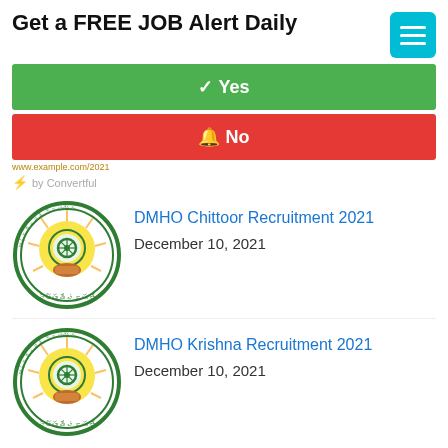Get a FREE JOB Alert Daily
✓ Yes
🔔 No
⚡ by Convertful
DMHO Chittoor Recruitment 2021
December 10, 2021
DMHO Krishna Recruitment 2021
December 10, 2021